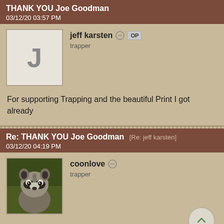THANK YOU Joe Goodman
03/12/20 03:57 PM
jeff karsten OP
trapper
For supporting Trapping and the beautiful Print I got already
Re: THANK YOU Joe Goodman [Re: jeff karsten]
03/12/20 04:19 PM
coonlove
trapper
Joe is a good guy and a superb artist.